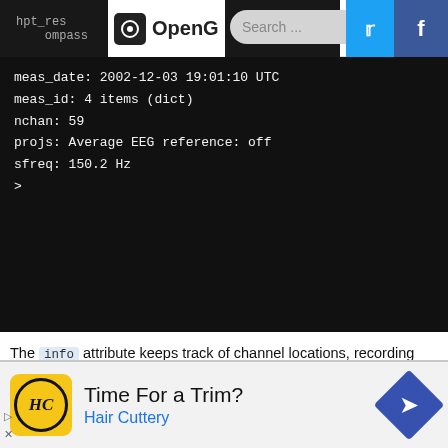OpenG | Search
meas_date: 2002-12-03 19:01:10 UTC
meas_id: 4 items (dict)
nchan: 59
projs: Average EEG reference: off
sfreq: 150.2 Hz
>
The info attribute keeps track of channel locations, recording date, number of channels, and more. Further detailed information on the Info structure can be found on MNE documentation here.
Cropping Data
Time For a Trim? Hair Cuttery